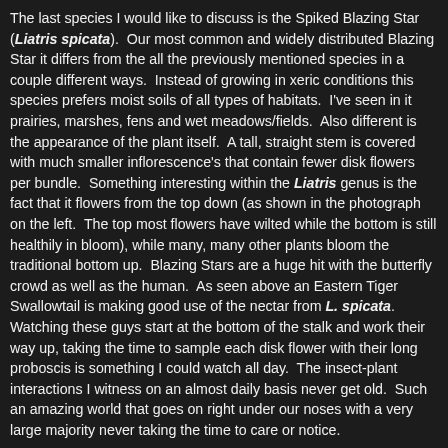The last species I would like to discuss is the Spiked Blazing Star (Liatris spicata). Our most common and widely distributed Blazing Star it differs from the all the previously mentioned species in a couple different ways. Instead of growing in xeric conditions this species prefers moist soils of all types of habitats. I've seen in it prairies, marshes, fens and wet meadows/fields. Also different is the appearance of the plant itself. A tall, straight stem is covered with much smaller inflorescence's that contain fewer disk flowers per bundle. Something interesting within the Liatris genus is the fact that it flowers from the top down (as shown in the photograph on the left. The top most flowers have wilted while the bottom is still healthily in bloom), while many, many other plants bloom the traditional bottom up. Blazing Stars are a huge hit with the butterfly crowd as well as the human. As seen above an Eastern Tiger Swallowtail is making good use of the nectar from L. spicata. Watching these guys start at the bottom of the stalk and work their way up, taking the time to sample each disk flower with their long proboscis is something I could watch all day. The insect-plant interactions I witness on an almost daily basis never get old. Such an amazing world that goes on right under our noses with a very large majority never taking the time to care or notice.